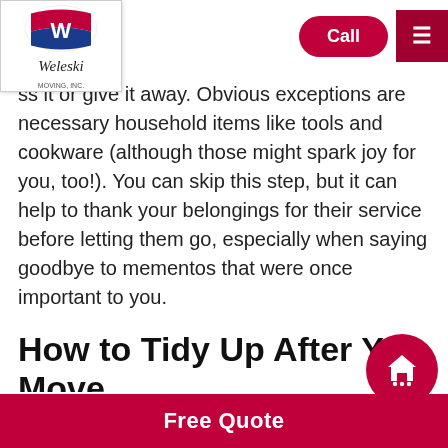Weleski Moving, Inc. — Call | Menu
ss it or give it away. Obvious exceptions are necessary household items like tools and cookware (although those might spark joy for you, too!). You can skip this step, but it can help to thank your belongings for their service before letting them go, especially when saying goodbye to mementos that were once important to you.
How to Tidy Up After You Move
Use the filing method to fold clothes. Marie Kondo's folding method is the best way to see all your clothing at a glance, without having to upheave neatly stacked garments to find...
Free Quote